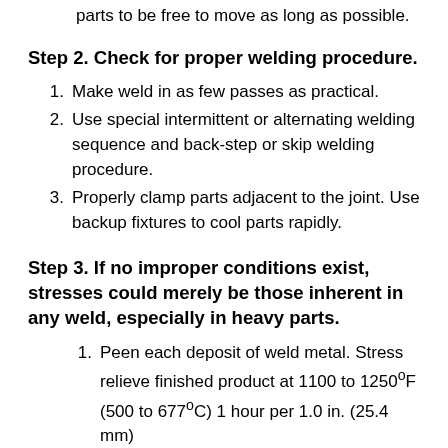parts to be free to move as long as possible.
Step 2. Check for proper welding procedure.
Make weld in as few passes as practical.
Use special intermittent or alternating welding sequence and back-step or skip welding procedure.
Properly clamp parts adjacent to the joint. Use backup fixtures to cool parts rapidly.
Step 3. If no improper conditions exist, stresses could merely be those inherent in any weld, especially in heavy parts.
Peen each deposit of weld metal. Stress relieve finished product at 1100 to 1250°F (500 to 677°C) 1 hour per 1.0 in. (25.4 mm)